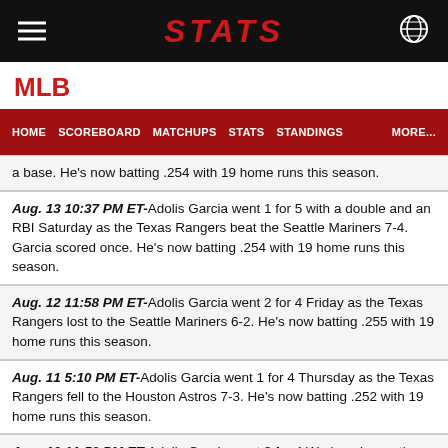STATS
MLB
HOME  SCOREBOARD  MATCHUPS  STATS  STANDINGS  MORE...
a base. He's now batting .254 with 19 home runs this season.
Aug. 13 10:37 PM ET-Adolis Garcia went 1 for 5 with a double and an RBI Saturday as the Texas Rangers beat the Seattle Mariners 7-4. Garcia scored once. He's now batting .254 with 19 home runs this season.
Aug. 12 11:58 PM ET-Adolis Garcia went 2 for 4 Friday as the Texas Rangers lost to the Seattle Mariners 6-2. He's now batting .255 with 19 home runs this season.
Aug. 11 5:10 PM ET-Adolis Garcia went 1 for 4 Thursday as the Texas Rangers fell to the Houston Astros 7-3. He's now batting .252 with 19 home runs this season.
Aug. 10 11:58 PM ET-Adolis Garcia went 3 for 4 Wednesday as the Texas Rangers topped the Houston Astros 8-4. Garcia scored twice and stole a base. He's now batting .252 with 19 home runs this season.
Aug. 9 11:04 PM ET-Adolis Garcia went 1 for 3 with a home run and an RBI